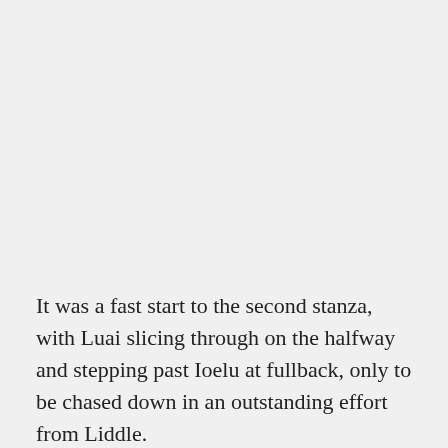It was a fast start to the second stanza, with Luai slicing through on the halfway and stepping past Ioelu at fullback, only to be chased down in an outstanding effort from Liddle.
However, the hooker was ruled to have held down Luai for too long however and was sin